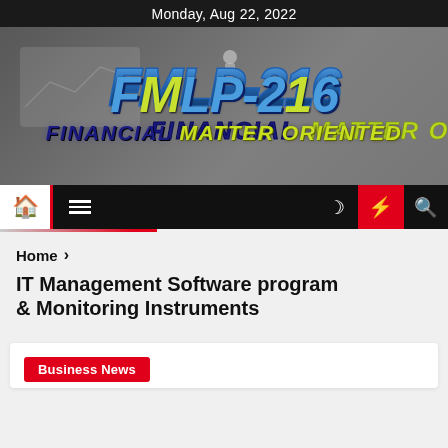Monday, Aug 22, 2022
[Figure (logo): FMLP-216 Financial Matter Oriented logo banner with person icon, on dark background with chart imagery]
Navigation bar with home icon, hamburger menu, moon/dark mode icon, lightning/breaking news icon, search icon
Home > IT Management Software program & Monitoring Instruments
IT Management Software program & Monitoring Instruments
Business News